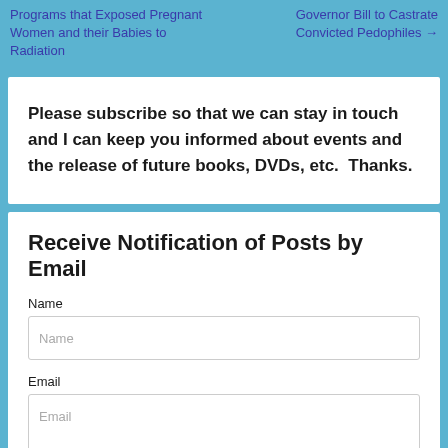Programs that Exposed Pregnant Women and their Babies to Radiation
Governor Bill to Castrate Convicted Pedophiles →
Please subscribe so that we can stay in touch and I can keep you informed about events and the release of future books, DVDs, etc.  Thanks.
Receive Notification of Posts by Email
Name
Email